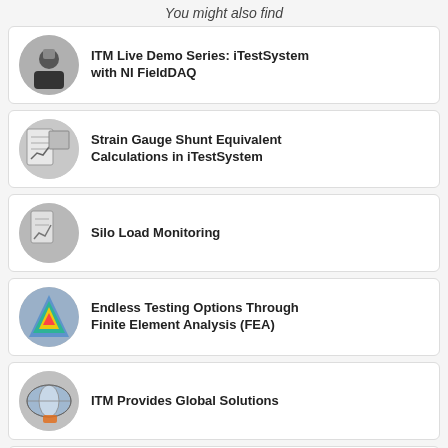You might also find
ITM Live Demo Series: iTestSystem with NI FieldDAQ
Strain Gauge Shunt Equivalent Calculations in iTestSystem
Silo Load Monitoring
Endless Testing Options Through Finite Element Analysis (FEA)
ITM Provides Global Solutions
Engineering Data Acquisition Tools: